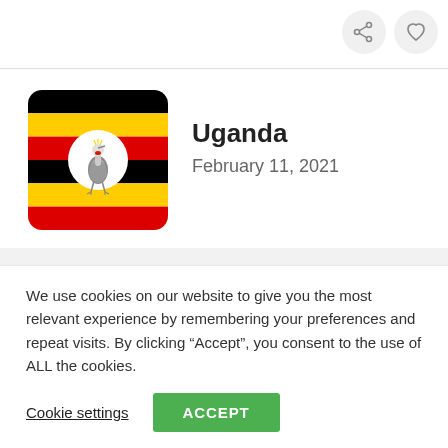[Figure (screenshot): Top navigation bar with share/save icon buttons in top-right corner]
[Figure (logo): Uganda flag icon — horizontal stripes black, yellow, red with grey crowned crane in white circle center]
Uganda
February 11, 2021
Zanzibar
February 11, 2021
[Figure (illustration): Zanzibar flag icon — blue, black, green horizontal stripes with rounded corners]
We use cookies on our website to give you the most relevant experience by remembering your preferences and repeat visits. By clicking “Accept”, you consent to the use of ALL the cookies.
Cookie settings
ACCEPT